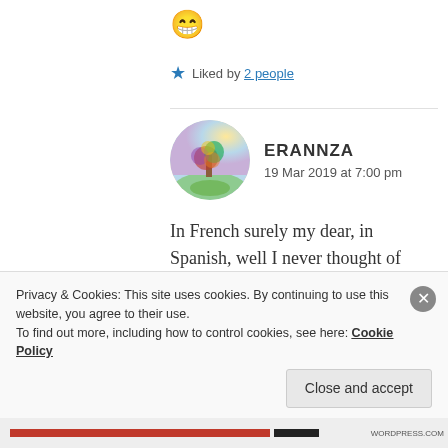[Figure (illustration): Grinning face emoji with big eyes and wide smile]
★ Liked by 2 people
[Figure (illustration): Circular avatar showing a painted watercolor tree with colorful foliage]
ERANNZA
19 Mar 2019 at 7:00 pm
In French surely my dear, in Spanish, well I never thought of that! But I have reason my adored one is writing in many languages
Privacy & Cookies: This site uses cookies. By continuing to use this website, you agree to their use.
To find out more, including how to control cookies, see here: Cookie Policy
Close and accept